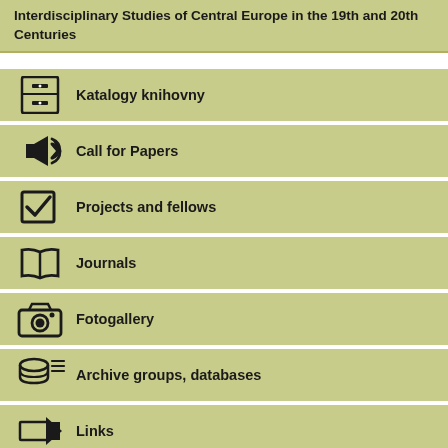Interdisciplinary Studies of Central Europe in the 19th and 20th Centuries
Katalogy knihovny
Call for Papers
Projects and fellows
Journals
Fotogallery
Archive groups, databases
Links